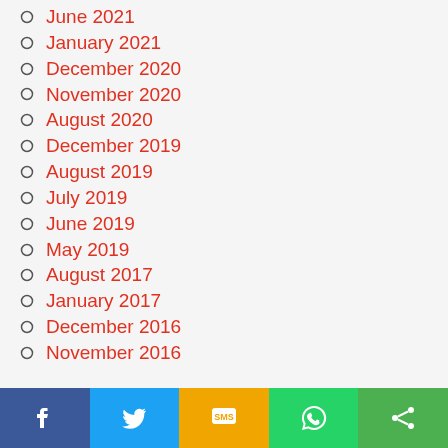June 2021
January 2021
December 2020
November 2020
August 2020
December 2019
August 2019
July 2019
June 2019
May 2019
August 2017
January 2017
December 2016
November 2016
[Figure (infographic): Social sharing bar with Facebook, Twitter, SMS, WhatsApp, and Share buttons]